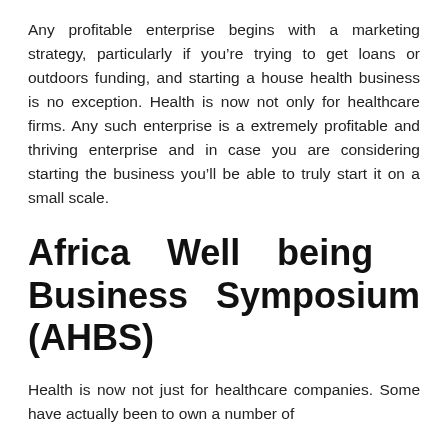Any profitable enterprise begins with a marketing strategy, particularly if you're trying to get loans or outdoors funding, and starting a house health business is no exception. Health is now not only for healthcare firms. Any such enterprise is a extremely profitable and thriving enterprise and in case you are considering starting the business you'll be able to truly start it on a small scale.
Africa Well being Business Symposium (AHBS)
Health is now not just for healthcare companies. Some have actually been to own a number of